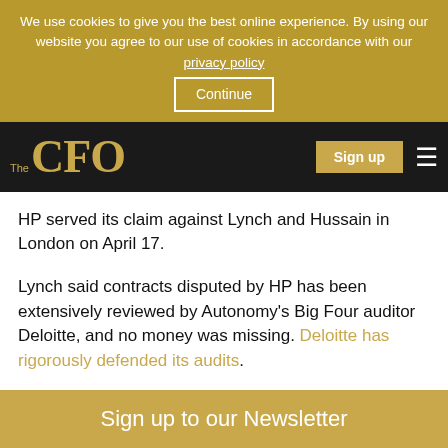We use cookies to give you the best online experience. By using our website you agree to our use of cookies in accordance with our privacy policy  Continue
[Figure (logo): The CFO logo in gold on black navigation bar with Sign up button and hamburger menu]
HP served its claim against Lynch and Hussain in London on April 17.
Lynch said contracts disputed by HP has been extensively reviewed by Autonomy's Big Four auditor Deloitte, and no money was missing. Deloitte has rigorously defended its audits.
The bitter spat has led to probes by authorities in the UK and USA. The Serious Fraud Office ended its
Sign up to our Newsletter